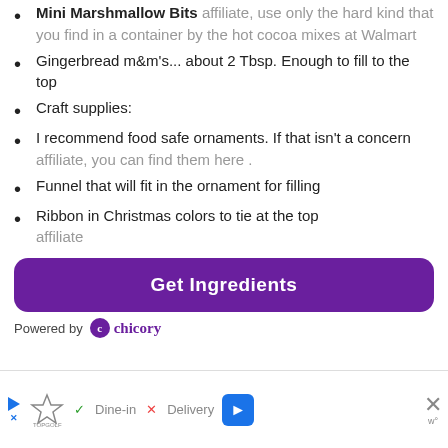Mini Marshmallow Bits affiliate, use only the hard kind that you find in a container by the hot cocoa mixes at Walmart
Gingerbread m&m's... about 2 Tbsp. Enough to fill to the top
Craft supplies:
I recommend food safe ornaments. If that isn't a concern affiliate, you can find them here .
Funnel that will fit in the ornament for filling
Ribbon in Christmas colors to tie at the top affiliate
Get Ingredients
Powered by chicory
[Figure (screenshot): Advertisement banner with TopGolf logo, Dine-in and Delivery options, navigation arrow icon, and close button]